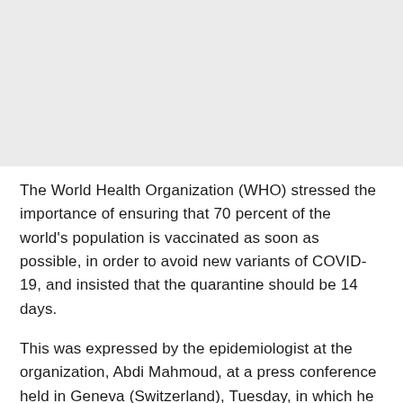[Figure (photo): Image placeholder area at the top of the page, light gray background]
The World Health Organization (WHO) stressed the importance of ensuring that 70 percent of the world's population is vaccinated as soon as possible, in order to avoid new variants of COVID-19, and insisted that the quarantine should be 14 days.
This was expressed by the epidemiologist at the organization, Abdi Mahmoud, at a press conference held in Geneva (Switzerland), Tuesday, in which he warned that countries will not be able